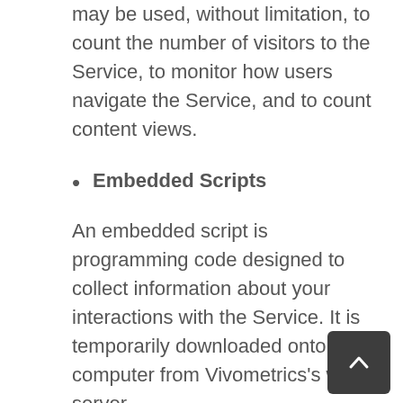may be used, without limitation, to count the number of visitors to the Service, to monitor how users navigate the Service, and to count content views.
Embedded Scripts

An embedded script is programming code designed to collect information about your interactions with the Service. It is temporarily downloaded onto your computer from Vivometrics's web server